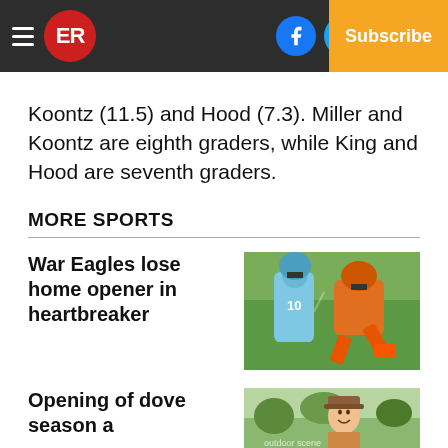ER | Log In | Subscribe
Koontz (11.5) and Hood (7.3). Miller and Koontz are eighth graders, while King and Hood are seventh graders.
MORE SPORTS
War Eagles lose home opener in heartbreaker
[Figure (photo): Football players in action, one in blue/white uniform number 10 tackling a player in orange uniform]
Opening of dove season a